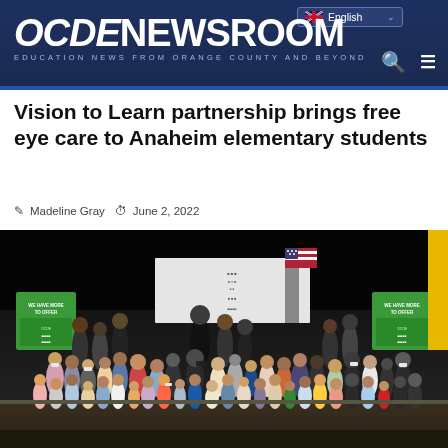OCDE NEWSROOM — EDUCATION NEWS FROM ORANGE COUNTY AND BEYOND
Vision to Learn partnership brings free eye care to Anaheim elementary students
Madeline Gray   June 2, 2022
[Figure (photo): Group photo of elementary school students and adults on a stage, with banners and an American flag in the background, at an event related to Vision to Learn eye care program.]